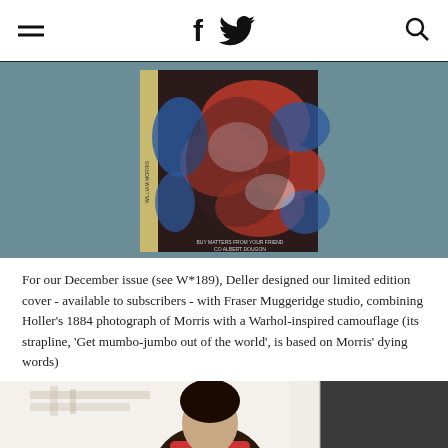f [facebook] [twitter] [search]
[Figure (photo): Magazine cover featuring a face with Warhol-inspired camouflage pattern in red, white and blue over a photo of Morris, displayed against a teal/grey background]
For our December issue (see W*189), Deller designed our limited edition cover - available to subscribers - with Fraser Muggeridge studio, combining Holler's 1884 photograph of Morris with a Warhol-inspired camouflage (its strapline, 'Get mumbo-jumbo out of the world', is based on Morris' dying words)
[Figure (photo): Partial view of a person with dark hair in what appears to be an interior setting, partially cropped at bottom of page]